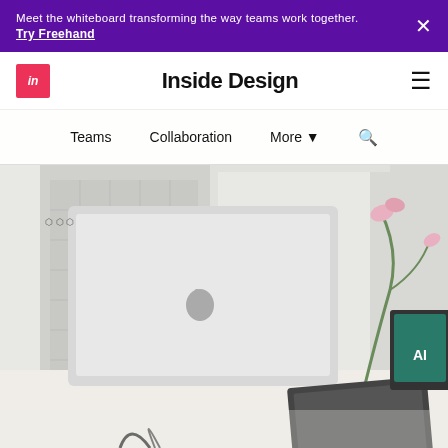Meet the whiteboard transforming the way teams work together. Try Freehand ×
Inside Design
[Figure (screenshot): Website header screenshot showing InVision 'Inside Design' blog with navigation menu (Teams, Collaboration, More) and a hero image of a modern design office desk with an Apple iMac, orchid plant, and laptop]
Teams    Collaboration    More ▾    🔍